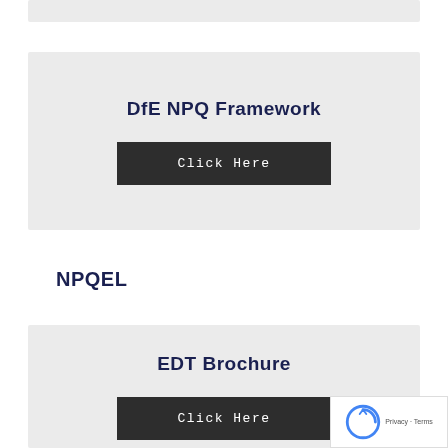[Figure (other): Gray bar at top of page (partial content from above)]
DfE NPQ Framework
Click Here
NPQEL
EDT Brochure
Click Here